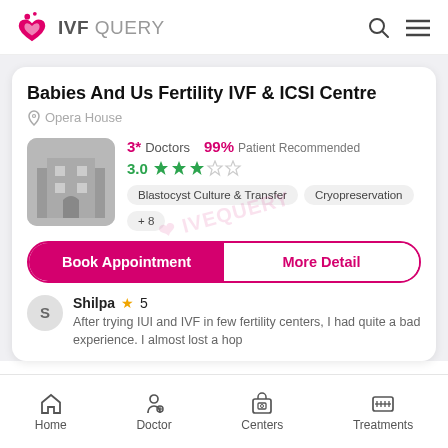IVF QUERY
Babies And Us Fertility IVF & ICSI Centre
Opera House
3* Doctors   99% Patient Recommended   3.0 ★★★☆☆
Blastocyst Culture & Transfer   Cryopreservation   +8
Book Appointment   More Detail
Shilpa ★ 5
After trying IUI and IVF in few fertility centers, I had quite a bad experience. I almost lost a hop
Home   Doctor   Centers   Treatments